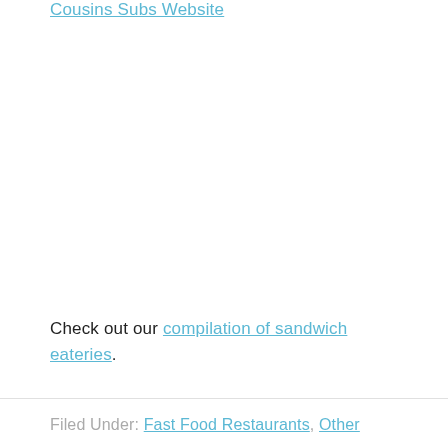Cousins Subs Website
Check out our compilation of sandwich eateries.
Filed Under: Fast Food Restaurants, Other